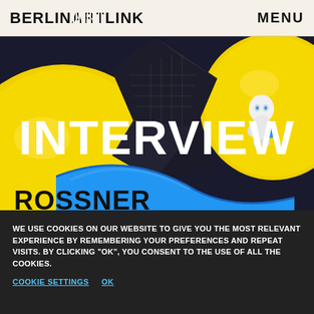BERLINARTLINK   MENU
[Figure (photo): 3D rendered scene with large yellow spheres, blue curved surface, dark geometric shapes, and a small white humanoid robot figure. Large white bold text 'INTERVIEW' overlaid in center. Black bold text 'ROSSNER' in lower left.]
[Figure (photo): Partial view of another image showing text 'VICTORIA' in cyan on left and 'BIDUST' in cyan on right, with 3D rendered elements visible.]
WE USE COOKIES ON OUR WEBSITE TO GIVE YOU THE MOST RELEVANT EXPERIENCE BY REMEMBERING YOUR PREFERENCES AND REPEAT VISITS. BY CLICKING "OK", YOU CONSENT TO THE USE OF ALL THE COOKIES.
COOKIE SETTINGS   OK